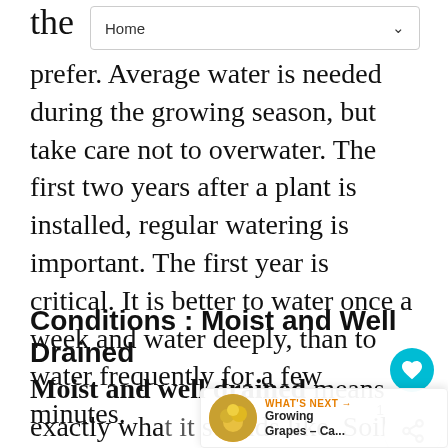Home
the prefer. Average water is needed during the growing season, but take care not to overwater. The first two years after a plant is installed, regular watering is important. The first year is critical. It is better to water once a week and water deeply, than to water frequently for a few minutes.
Conditions : Moist and Well Drained
Moist and well drained means exactly what it sounds like. Soil is moist without being soggy because the texture of the soil allows excess moisture to drain away. Most plants need 1 inch of water per week. Amending your soil with compost will help improve moisture and...